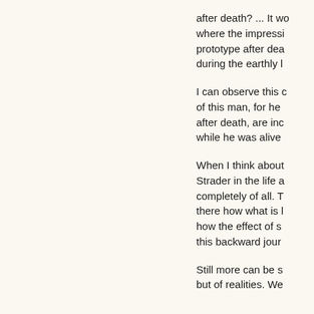after death? ... It wo where the impressi prototype after dea during the earthly l
I can observe this c of this man, for he after death, are inc while he was alive
When I think about Strader in the life a completely of all. T there how what is l how the effect of s this backward jour
Still more can be s but of realities. We